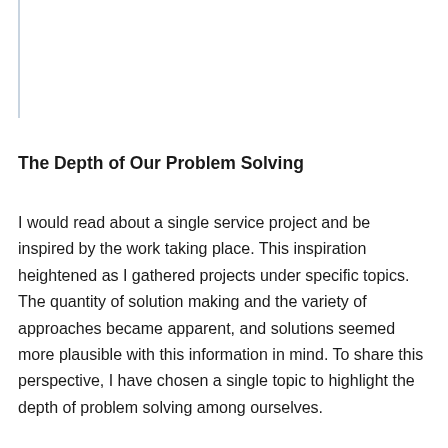The Depth of Our Problem Solving
I would read about a single service project and be inspired by the work taking place. This inspiration heightened as I gathered projects under specific topics. The quantity of solution making and the variety of approaches became apparent, and solutions seemed more plausible with this information in mind. To share this perspective, I have chosen a single topic to highlight the depth of problem solving among ourselves.